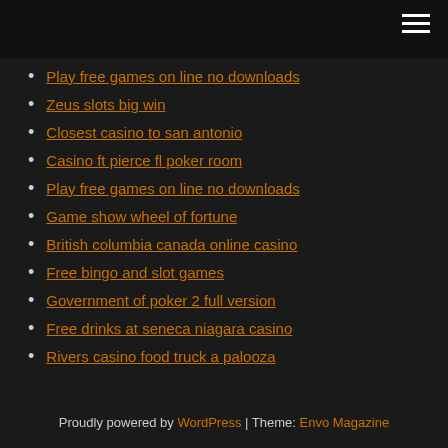Play free games on line no downloads
Zeus slots big win
Closest casino to san antonio
Casino ft pierce fl poker room
Play free games on line no downloads
Game show wheel of fortune
British columbia canada online casino
Free bingo and slot games
Government of poker 2 full version
Free drinks at seneca niagara casino
Rivers casino food truck a palooza
Proudly powered by WordPress | Theme: Envo Magazine